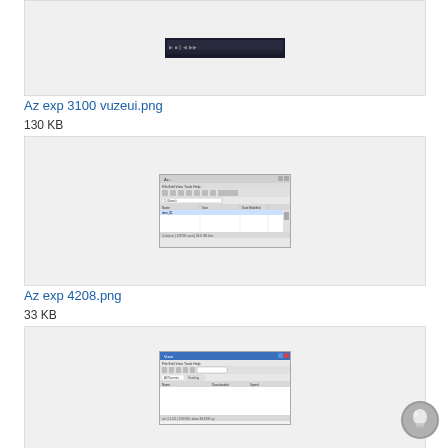[Figure (screenshot): Screenshot of a dark-themed application window (Vuze UI)]
Az exp 3100 vuzeui.png
130 KB
[Figure (screenshot): Screenshot of a file manager or download manager application window]
Az exp 4208.png
33 KB
[Figure (screenshot): Screenshot of another application window with blue header bar]